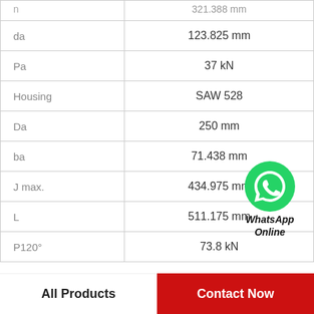| Parameter | Value |
| --- | --- |
| n | 321.388 mm |
| da | 123.825 mm |
| Pa | 37 kN |
| Housing | SAW 528 |
| Da | 250 mm |
| ba | 71.438 mm |
| J max. | 434.975 mm |
| L | 511.175 mm |
| P120° | 73.8 kN |
[Figure (logo): WhatsApp green circle icon with phone logo and text 'WhatsApp Online']
All Products   Contact Now